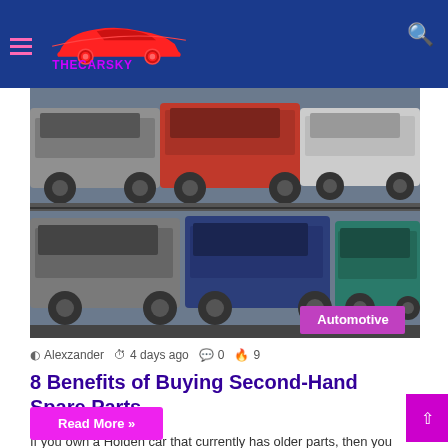THECARSKY
[Figure (photo): A junkyard showing multiple wrecked and salvaged cars stacked on racks, with an 'Automotive' badge overlay in the bottom right corner.]
Alexzander  4 days ago  0  9
8 Benefits of Buying Second-Hand Spare Parts
If you own a Holden car that currently has older parts, then you may well want to know what you…
Read More »